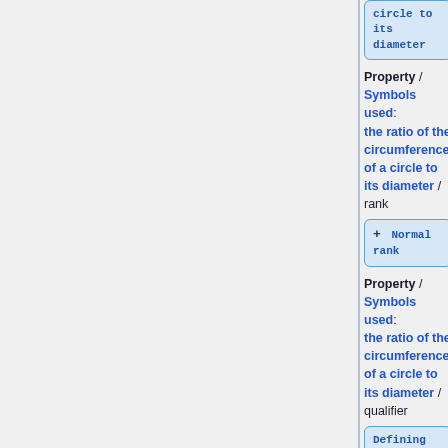circle to its diameter (code box at top)
Property / Symbols used: the ratio of the circumference of a circle to its diameter / rank
+ Normal rank (code box)
Property / Symbols used: the ratio of the circumference of a circle to its diameter / qualifier
Defining formula: (code box at bottom)